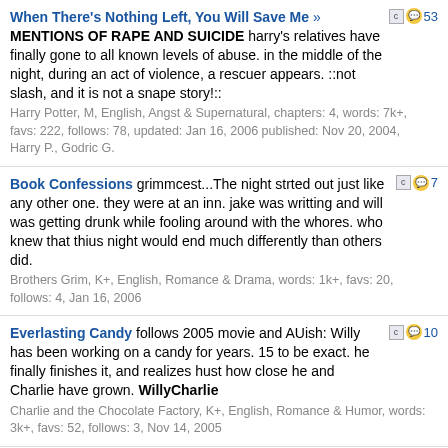When There's Nothing Left, You Will Save Me » MENTIONS OF RAPE AND SUICIDE harry's relatives have finally gone to all known levels of abuse. in the middle of the night, during an act of violence, a rescuer appears. ::not slash, and it is not a snape story!:: Harry Potter, M, English, Angst & Supernatural, chapters: 4, words: 7k+, favs: 222, follows: 78, updated: Jan 16, 2006 published: Nov 20, 2004, Harry P., Godric G.
Book Confessions grimmcest...The night strted out just like any other one. they were at an inn. jake was writting and will was getting drunk while fooling around with the whores. who knew that thius night would end much differently than others did. Brothers Grim, K+, English, Romance & Drama, words: 1k+, favs: 20, follows: 4, Jan 16, 2006
Everlasting Candy follows 2005 movie and AUish: Willy has been working on a candy for years. 15 to be exact. he finally finishes it, and realizes hust how close he and Charlie have grown. WillyCharlie Charlie and the Chocolate Factory, K+, English, Romance & Humor, words: 3k+, favs: 52, follows: 3, Nov 14, 2005
Author: Follow Favorite Go
All Category Sort: Updated Go
We use cookies. By using our services, you acknowledge that you have read and accept our Cookies & Privacy Policies. Accept